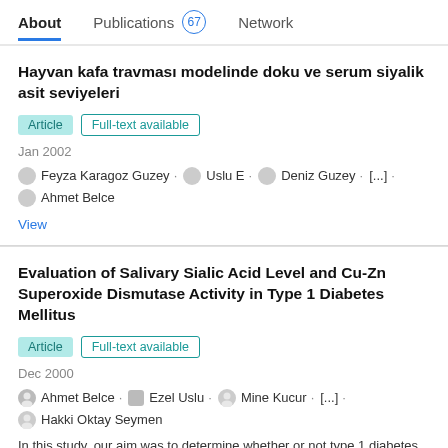About  Publications 67  Network
Hayvan kafa travması modelinde doku ve serum siyalik asit seviyeleri
Article  Full-text available
Jan 2002
Feyza Karagoz Guzey · Uslu E · Deniz Guzey · [...] · Ahmet Belce
View
Evaluation of Salivary Sialic Acid Level and Cu-Zn Superoxide Dismutase Activity in Type 1 Diabetes Mellitus
Article  Full-text available
Dec 2000
Ahmet Belce · Ezel Uslu · Mine Kucur · [...] · Hakki Oktay Seymen
In this study, our aim was to determine whether or not type 1 diabetes mellitus affects salivary sialic acid level and SOD